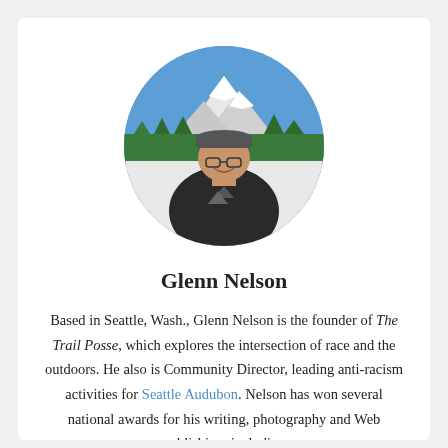[Figure (photo): Circular portrait photo of Glenn Nelson, a man wearing glasses and a dark t-shirt with a mountain graphic, smiling outdoors with snow-capped mountains and blue sky in the background.]
Glenn Nelson
Based in Seattle, Wash., Glenn Nelson is the founder of The Trail Posse, which explores the intersection of race and the outdoors. He also is Community Director, leading anti-racism activities for Seattle Audubon. Nelson has won several national awards for his writing, photography and Web publishing, including